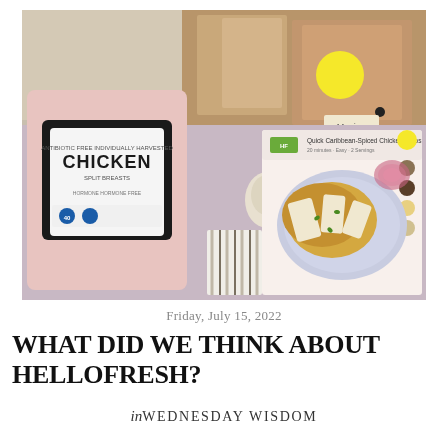[Figure (photo): Photo of a HelloFresh meal kit delivery showing a package of chicken breast on the left, a recipe card for Quick Caribbean-Spiced Chicken Tacos in the center-right, and brown paper bags with a yellow circle sticker in the background.]
Friday, July 15, 2022
WHAT DID WE THINK ABOUT HELLOFRESH?
in WEDNESDAY WISDOM